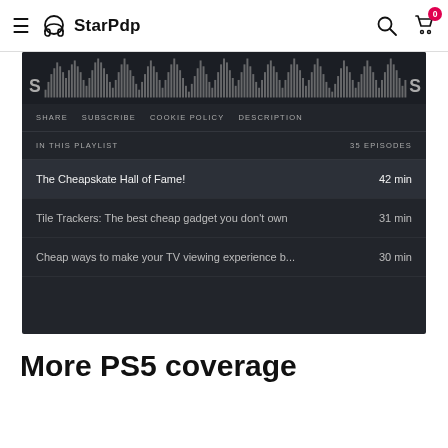StarPdp — hamburger menu, logo, search icon, cart icon (0 items)
[Figure (screenshot): Podcast player UI with waveform visualization, navigation menu (SHARE, SUBSCRIBE, COOKIE POLICY, DESCRIPTION), playlist showing 35 EPISODES with three entries: 'The Cheapskate Hall of Fame! 42 min', 'Tile Trackers: The best cheap gadget you don't own 31 min', 'Cheap ways to make your TV viewing experience b... 30 min']
More PS5 coverage